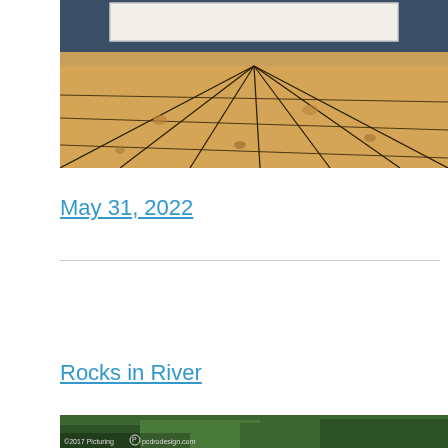[Figure (photo): Photo of a wooden floor with pine planks receding in perspective, with a dark gray/navy wall and white board visible at the top. Knots and grain visible in the light tan wood.]
May 31, 2022
Rocks in River
[Figure (photo): Partial view of rocks in a river with green foliage visible, with a Picturing Design watermark at bottom left.]